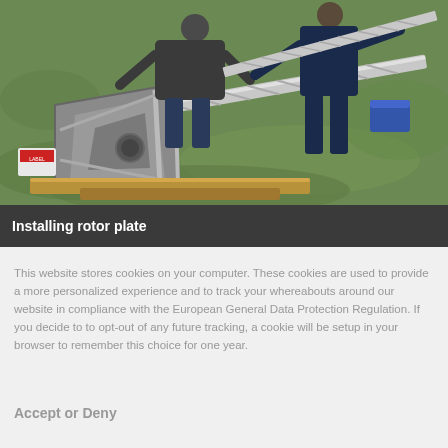[Figure (photo): Two workers installing a rotor plate on a metal truss/frame structure lying on grass outdoors. Various tools and materials visible around the work area.]
Installing rotor plate
This website stores cookies on your computer. These cookies are used to provide a more personalized experience and to track your whereabouts around our website in compliance with the European General Data Protection Regulation. If you decide to to opt-out of any future tracking, a cookie will be setup in your browser to remember this choice for one year.
Accept or Deny